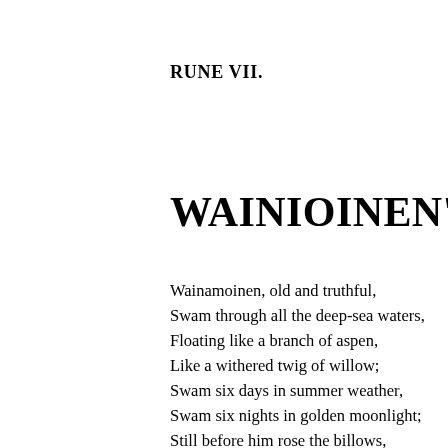RUNE VII.
WAINIOINEN'S RE
Wainamoinen, old and truthful,
Swam through all the deep-sea waters,
Floating like a branch of aspen,
Like a withered twig of willow;
Swam six days in summer weather,
Swam six nights in golden moonlight;
Still before him rose the billows,
And behind him sky and ocean.
Two days more he swam undaunted,
Two long nights be struggled onward.
On the evening of the eighth day,